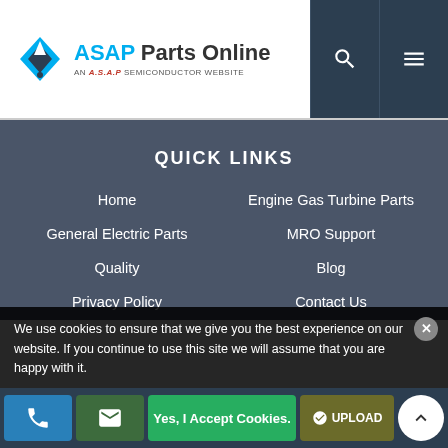ASAP Parts Online – AN A.S.A.P SEMICONDUCTOR WEBSITE
QUICK LINKS
Home
Engine Gas Turbine Parts
General Electric Parts
MRO Support
Quality
Blog
Privacy Policy
Contact Us
Cookie Policy
Consignment Options
Featured Products
Terms and Conditions
We use cookies to ensure that we give you the best experience on our website. If you continue to use this site we will assume that you are happy with it.
Yes, I Accept Cookies.